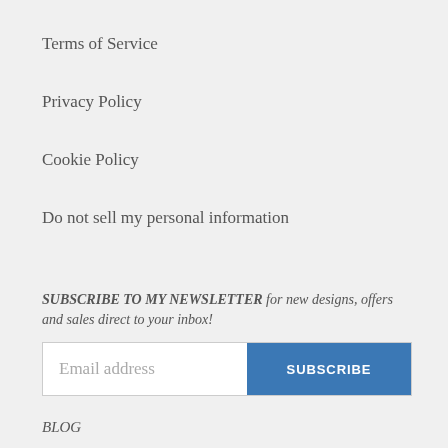Terms of Service
Privacy Policy
Cookie Policy
Do not sell my personal information
SUBSCRIBE TO MY NEWSLETTER for new designs, offers and sales direct to your inbox!
Email address | SUBSCRIBE
BLOG